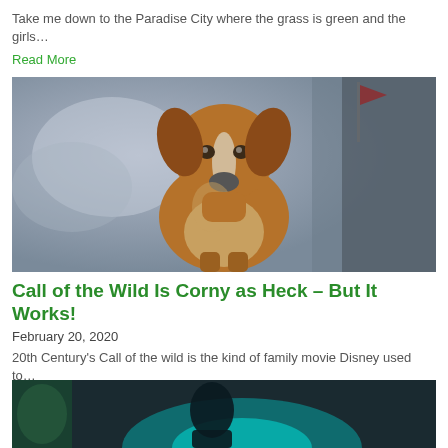Take me down to the Paradise City where the grass is green and the girls…
Read More
[Figure (photo): A brown and white dog standing outdoors with a blurred grey and blue background, and a red flag visible in the upper right.]
Call of the Wild Is Corny as Heck – But It Works!
February 20, 2020
20th Century's Call of the wild is the kind of family movie Disney used to…
Read More
[Figure (photo): Partial image of a dark scene with teal/cyan lighting, appears to show a person or character.]